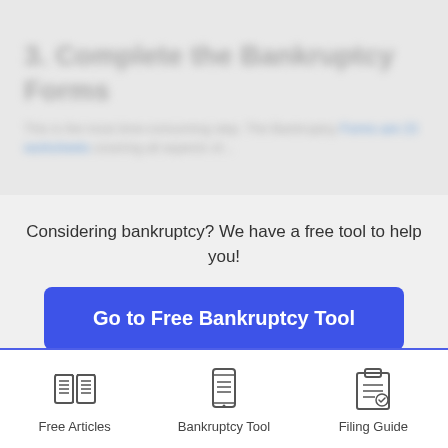3. Complete the Bankruptcy Forms
This is the most time-consuming step. The Bankruptcy Forms are 23 worksheets covering all aspects of...
Considering bankruptcy? We have a free tool to help you!
Go to Free Bankruptcy Tool
Keep Reading
Free Articles
Bankruptcy Tool
Filing Guide